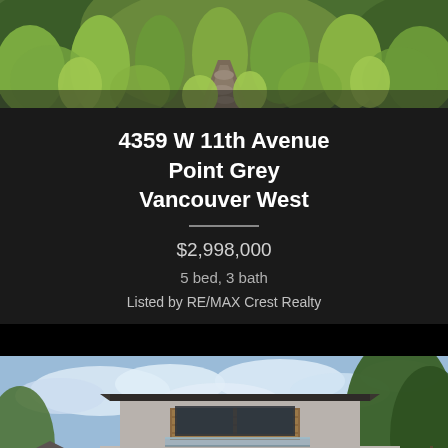[Figure (photo): Aerial/close-up photo of lush green garden with stone pathway and ornamental grasses and shrubs]
4359 W 11th Avenue
Point Grey
Vancouver West
$2,998,000
5 bed, 3 bath
Listed by RE/MAX Crest Realty
[Figure (photo): Exterior photo of a modern two-storey house with grey stucco finish, wood accent panels, glass railing on upper balcony, surrounded by trees under partly cloudy sky]